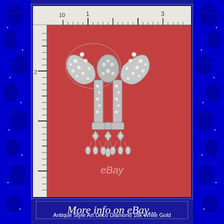[Figure (photo): Antique Style Art Deco Diamond 18k White Gold bow brooch with dangling pendants, photographed against a red background with ruler for scale. eBay watermark visible. The brooch has a large bow at top with multiple diamond clusters and hanging pendants with teardrop shapes at bottom.]
More info on eBay...
Antique Style Art Deco Diamond 18k White Gold